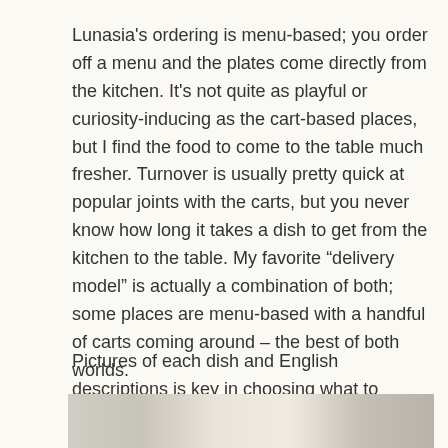Lunasia's ordering is menu-based; you order off a menu and the plates come directly from the kitchen. It's not quite as playful or curiosity-inducing as the cart-based places, but I find the food to come to the table much fresher. Turnover is usually pretty quick at popular joints with the carts, but you never know how long it takes a dish to get from the kitchen to the table. My favorite “delivery model” is actually a combination of both; some places are menu-based with a handful of carts coming around – the best of both worlds.
Pictures of each dish and English descriptions is key in choosing what to order!
[Figure (photo): Bottom strip showing a partial photo, likely of dim sum dishes or menu items at a restaurant]